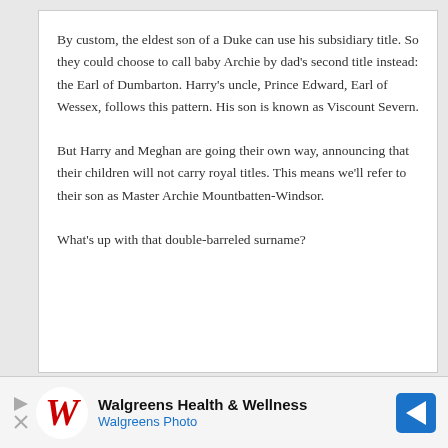By custom, the eldest son of a Duke can use his subsidiary title. So they could choose to call baby Archie by dad's second title instead: the Earl of Dumbarton. Harry's uncle, Prince Edward, Earl of Wessex, follows this pattern. His son is known as Viscount Severn.
But Harry and Meghan are going their own way, announcing that their children will not carry royal titles. This means we'll refer to their son as Master Archie Mountbatten-Windsor.
What's up with that double-barreled surname?
[Figure (other): Walgreens Health & Wellness advertisement banner with Walgreens logo, play button, and navigation arrow icon]